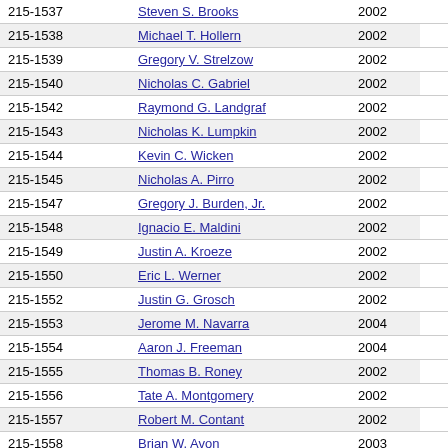|  | Name | Year |  |
| --- | --- | --- | --- |
| 215-1537 | Steven S. Brooks | 2002 |  |
| 215-1538 | Michael T. Hollern | 2002 |  |
| 215-1539 | Gregory V. Strelzow | 2002 |  |
| 215-1540 | Nicholas C. Gabriel | 2002 |  |
| 215-1542 | Raymond G. Landgraf | 2002 |  |
| 215-1543 | Nicholas K. Lumpkin | 2002 |  |
| 215-1544 | Kevin C. Wicken | 2002 |  |
| 215-1545 | Nicholas A. Pirro | 2002 |  |
| 215-1547 | Gregory J. Burden, Jr. | 2002 |  |
| 215-1548 | Ignacio E. Maldini | 2002 |  |
| 215-1549 | Justin A. Kroeze | 2002 |  |
| 215-1550 | Eric L. Werner | 2002 |  |
| 215-1552 | Justin G. Grosch | 2002 |  |
| 215-1553 | Jerome M. Navarra | 2004 |  |
| 215-1554 | Aaron J. Freeman | 2004 |  |
| 215-1555 | Thomas B. Roney | 2002 |  |
| 215-1556 | Tate A. Montgomery | 2002 |  |
| 215-1557 | Robert M. Contant | 2002 |  |
| 215-1558 | Brian W. Avon | 2003 |  |
| 215-1559 | Nicholas A. Mitchell | 2001 |  |
| 215-1560 | Mason E. Poole | 2003 |  |